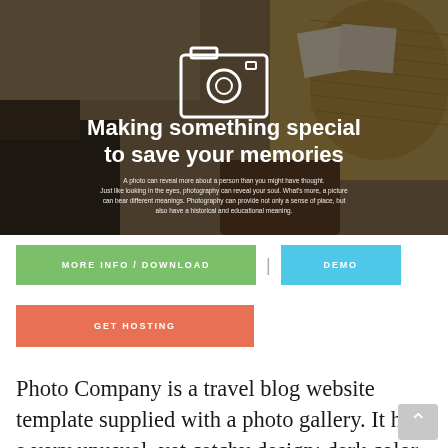[Figure (photo): Hero banner image of travel items (sandals, hat, camera, photos, notebook) on a wooden surface with dark overlay, camera icon, large white headline text 'Making something special to save your memories', and smaller paragraph text about photography.]
MORE INFO / DOWNLOAD | DEMO
GET HOSTING
Photo Company is a travel blog website template supplied with a photo gallery. It has a very unusual, yet catchy design: dark color scheme